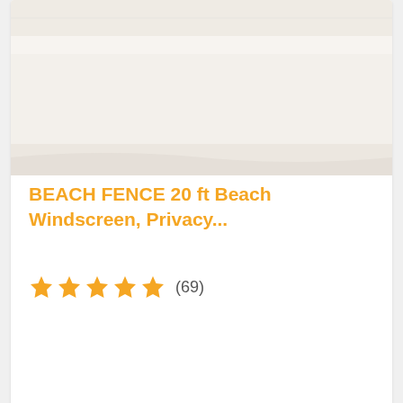[Figure (photo): Top portion of a beach windscreen/privacy fence product photo showing sandy texture]
BEACH FENCE 20 ft Beach Windscreen, Privacy...
★★★★★ (69)
BESTSELLER NO. 4
SALE
[Figure (photo): Two women in bikinis lying on sand in front of a blue and white striped beach windscreen fence]